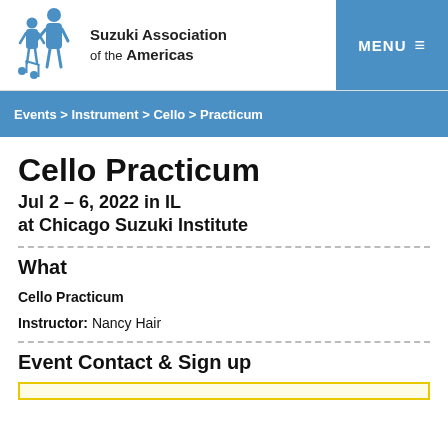Suzuki Association of the Americas
Events > Instrument > Cello > Practicum
Cello Practicum
Jul 2 – 6, 2022 in IL
at Chicago Suzuki Institute
What
Cello Practicum
Instructor: Nancy Hair
Event Contact & Sign up